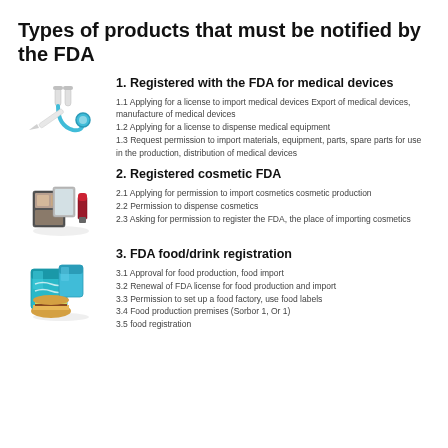Types of products that must be notified by the FDA
1. Registered with the FDA for medical devices
1.1 Applying for a license to import medical devices Export of medical devices, manufacture of medical devices
1.2 Applying for a license to dispense medical equipment
1.3 Request permission to import materials, equipment, parts, spare parts for use in the production, distribution of medical devices
2. Registered cosmetic FDA
2.1 Applying for permission to import cosmetics cosmetic production
2.2 Permission to dispense cosmetics
2.3 Asking for permission to register the FDA, the place of importing cosmetics
3. FDA food/drink registration
3.1 Approval for food production, food import
3.2 Renewal of FDA license for food production and import
3.3 Permission to set up a food factory, use food labels
3.4 Food production premises (Sorbor 1, Or 1)
3.5 food registration